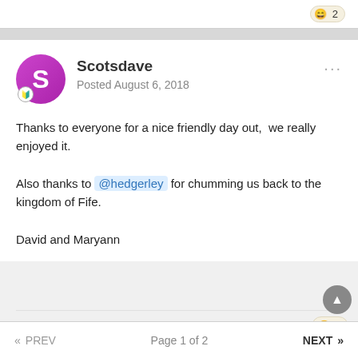[Figure (screenshot): Top bar with emoji laugh reaction badge showing count 2]
Scotsdave
Posted August 6, 2018
Thanks to everyone for a nice friendly day out,  we really enjoyed it.

Also thanks to @hedgerley for chumming us back to the kingdom of Fife.

David and Maryann
[Figure (screenshot): Emoji laugh reaction badge showing count 2]
« PREV   Page 1 of 2   NEXT »